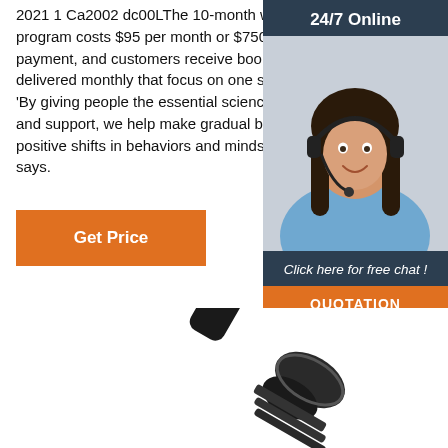2021 1 Ca2002 dc00LThe 10-month wellness program costs $95 per month or $750 as a one-time payment, and customers receive booklets and tools delivered monthly that focus on one specific theme. 'By giving people the essential science, tools, steps and support, we help make gradual but lasting positive shifts in behaviors and mindset,' Mycoskie says.
[Figure (other): Orange 'Get Price' button]
[Figure (other): 24/7 online chat widget with photo of smiling woman wearing headset, 'Click here for free chat!' text, and orange QUOTATION button]
[Figure (photo): Close-up photo of a black connector or cable component against white background]